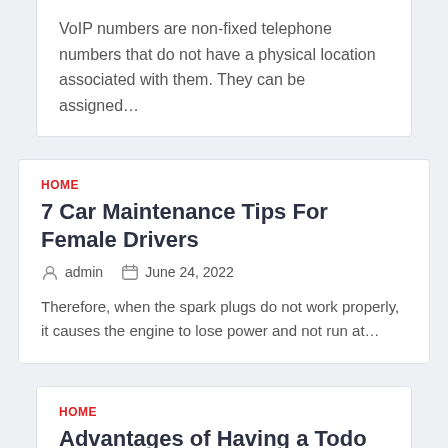VoIP numbers are non-fixed telephone numbers that do not have a physical location associated with them. They can be assigned…
HOME
7 Car Maintenance Tips For Female Drivers
admin   June 24, 2022
Therefore, when the spark plugs do not work properly, it causes the engine to lose power and not run at…
HOME
Advantages of Having a Todo List